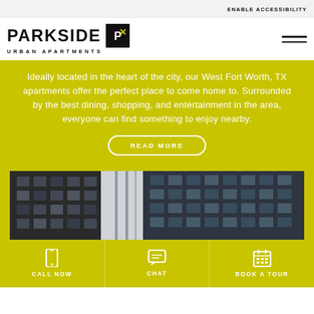ENABLE ACCESSIBILITY
[Figure (logo): Parkside Urban Apartments logo with stylized icon]
Ideally located in the heart of the city, our West Fort Worth, TX apartments offer the perfect place to come home to. Surrounded by the best dining, shopping, and entertainment in the area, everyone can find something to enjoy nearby.
READ MORE
[Figure (photo): Upward view of urban city buildings/skyscrapers]
CALL NOW
CHAT
BOOK A TOUR